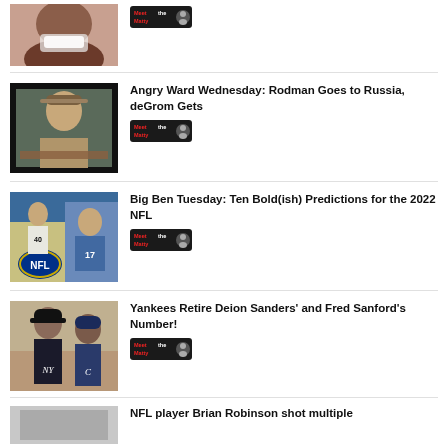[Figure (photo): Partial top image showing a smiling person, cropped at top]
[Figure (logo): Meet the Matty logo badge]
[Figure (photo): Photo of person in hat at desk, dark border]
Angry Ward Wednesday: Rodman Goes to Russia, deGrom Gets
[Figure (logo): Meet the Matty logo badge]
[Figure (photo): NFL football collage with NFL logo and players]
Big Ben Tuesday: Ten Bold(ish) Predictions for the 2022 NFL
[Figure (logo): Meet the Matty logo badge]
[Figure (photo): Baseball players in Yankees and opposing team uniforms]
Yankees Retire Deion Sanders' and Fred Sanford's Number!
[Figure (logo): Meet the Matty logo badge]
[Figure (photo): Partial bottom image, grayscale]
NFL player Brian Robinson shot multiple